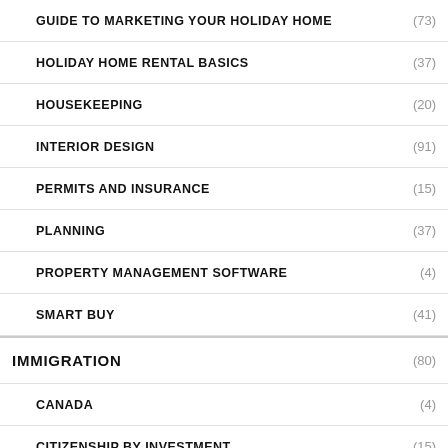GUIDE TO MARKETING YOUR HOLIDAY HOME (73)
HOLIDAY HOME RENTAL BASICS (37)
HOUSEKEEPING (20)
INTERIOR DESIGN (91)
PERMITS AND INSURANCE (15)
PLANNING (37)
PROPERTY MANAGEMENT SOFTWARE (4)
SMART BUY (41)
IMMIGRATION (80)
CANADA (4)
CITIZENSHIP BY INVESTMENT (15)
COUNTRY GUIDES (53)
ASIA (5)
CAMBODIA (1)
MALAYSIA (1)
THAILAND (?)